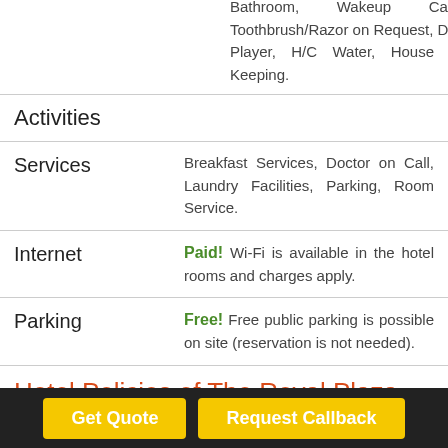Bathroom, Wakeup Calls, Toothbrush/Razor on Request, DVD Player, H/C Water, House Keeping.
Activities
Services — Breakfast Services, Doctor on Call, Laundry Facilities, Parking, Room Service.
Internet — Paid! Wi-Fi is available in the hotel rooms and charges apply.
Parking — Free! Free public parking is possible on site (reservation is not needed).
Hotel Policies of The Royal Plaza Hotel Gangtok
Rooms  55
Check in